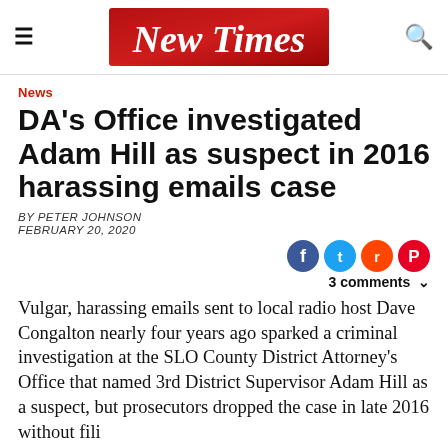New Times
News
DA's Office investigated Adam Hill as suspect in 2016 harassing emails case
BY PETER JOHNSON
FEBRUARY 20, 2020
[Figure (infographic): Social media sharing icons: Facebook, Twitter, Reddit, Pinterest; followed by '3 comments' with chevron]
Vulgar, harassing emails sent to local radio host Dave Congalton nearly four years ago sparked a criminal investigation at the SLO County District Attorney's Office that named 3rd District Supervisor Adam Hill as a suspect, but prosecutors dropped the case in late 2016 without filing charges.